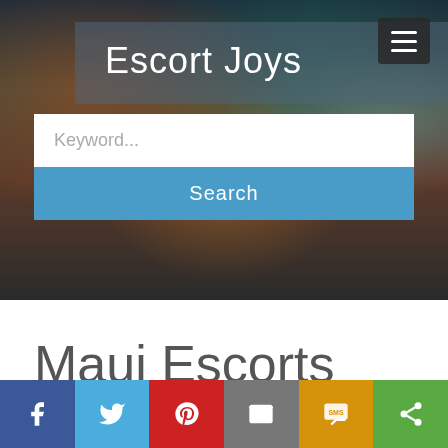[Figure (screenshot): Hero banner with blurred city night background, site title 'Escort Joys', hamburger menu button, keyword search input, and blue Search button]
Maui Escorts
[Figure (infographic): Social sharing bar with Facebook, Twitter, Pinterest, Email, SMS, and Share buttons]